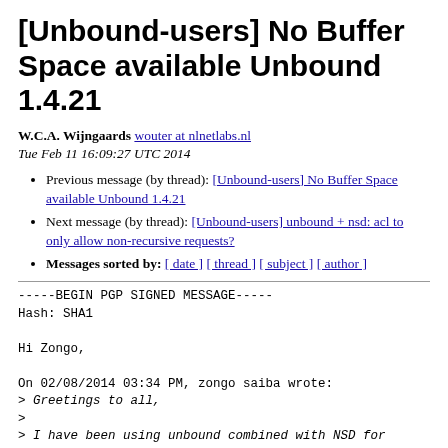[Unbound-users] No Buffer Space available Unbound 1.4.21
W.C.A. Wijngaards wouter at nlnetlabs.nl
Tue Feb 11 16:09:27 UTC 2014
Previous message (by thread): [Unbound-users] No Buffer Space available Unbound 1.4.21
Next message (by thread): [Unbound-users] unbound + nsd: acl to only allow non-recursive requests?
Messages sorted by: [ date ] [ thread ] [ subject ] [ author ]
-----BEGIN PGP SIGNED MESSAGE-----
Hash: SHA1

Hi Zongo,

On 02/08/2014 03:34 PM, zongo saiba wrote:
> Greetings to all,
>
> I have been using unbound combined with NSD for